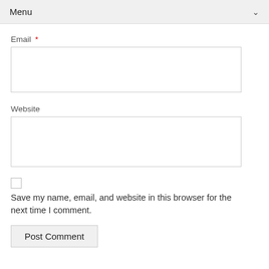Menu
Email *
Website
Save my name, email, and website in this browser for the next time I comment.
Post Comment